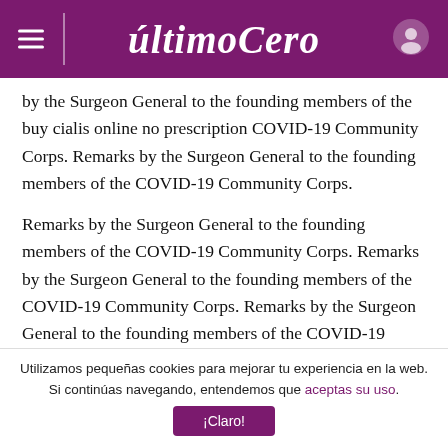últimoCero
by the Surgeon General to the founding members of the buy cialis online no prescription COVID-19 Community Corps. Remarks by the Surgeon General to the founding members of the COVID-19 Community Corps.
Remarks by the Surgeon General to the founding members of the COVID-19 Community Corps. Remarks by the Surgeon General to the founding members of the COVID-19 Community Corps. Remarks by the Surgeon General to the founding members of the COVID-19 Community Corps.
Utilizamos pequeñas cookies para mejorar tu experiencia en la web. Si continúas navegando, entendemos que aceptas su uso. ¡Claro!